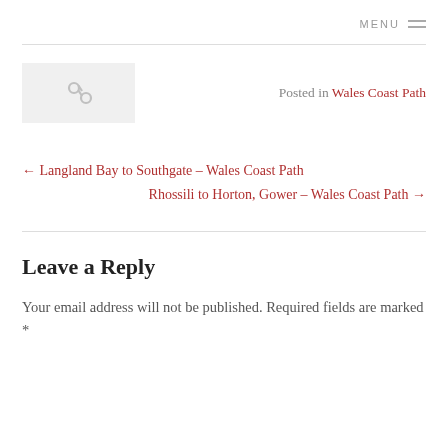MENU
[Figure (illustration): Small thumbnail placeholder image with link icon]
Posted in Wales Coast Path
← Langland Bay to Southgate – Wales Coast Path
Rhossili to Horton, Gower – Wales Coast Path →
Leave a Reply
Your email address will not be published. Required fields are marked *